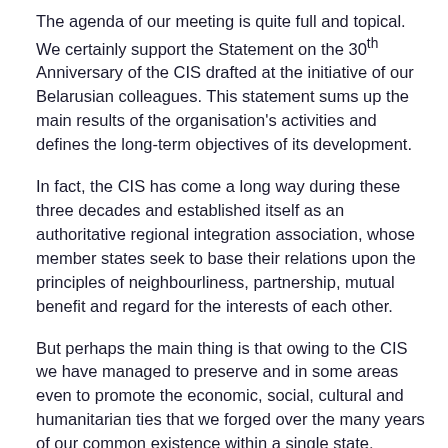The agenda of our meeting is quite full and topical. We certainly support the Statement on the 30th Anniversary of the CIS drafted at the initiative of our Belarusian colleagues. This statement sums up the main results of the organisation's activities and defines the long-term objectives of its development.
In fact, the CIS has come a long way during these three decades and established itself as an authoritative regional integration association, whose member states seek to base their relations upon the principles of neighbourliness, partnership, mutual benefit and regard for the interests of each other.
But perhaps the main thing is that owing to the CIS we have managed to preserve and in some areas even to promote the economic, social, cultural and humanitarian ties that we forged over the many years of our common existence within a single state.